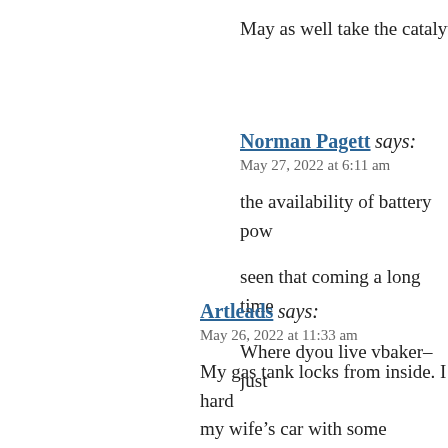May as well take the catalyti
Norman Pagett says:
May 27, 2022 at 6:11 am

the availability of battery pow

seen that coming a long time

Where dyou live vbaker–just
Artleads says:
May 26, 2022 at 11:33 am

My gas tank locks from inside. I hard
my wife's car with some regularity. I
suddenly struck me that most of the g